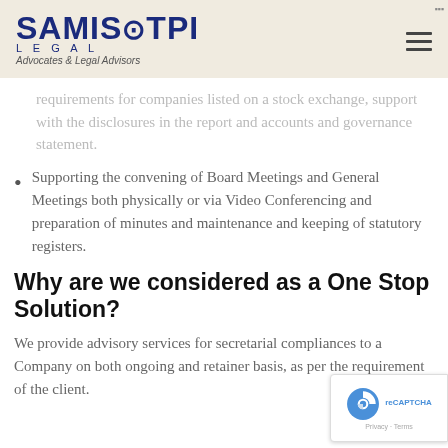SAMISTPI LEGAL Advocates & Legal Advisors
requirements for companies listed on a stock exchange, support with the disclosures in the report and accounts and governance statement.
Supporting the convening of Board Meetings and General Meetings both physically or via Video Conferencing and preparation of minutes and maintenance and keeping of statutory registers.
Why are we considered as a One Stop Solution?
We provide advisory services for secretarial compliances to a Company on both ongoing and retainer basis, as per the requirement of the client.